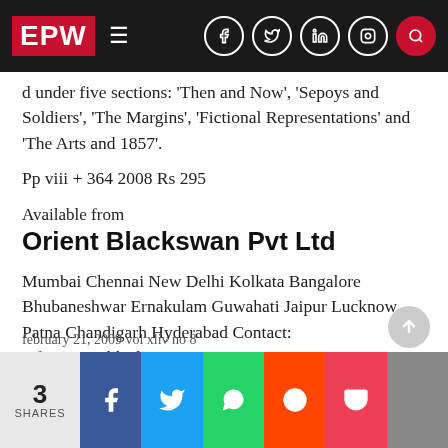EPW
under five sections: 'Then and Now', 'Sepoys and Soldiers', 'The Margins', 'Fictional Representations' and 'The Arts and 1857'.
Pp viii + 364 2008 Rs 295
Available from
Orient Blackswan Pvt Ltd
Mumbai Chennai New Delhi Kolkata Bangalore Bhubaneshwar Ernakulam Guwahati Jaipur Lucknow Patna Chandigarh Hyderabad Contact: info@orientblackswan.com
february 21, 2009 vol xliv no 8
3 SHARES